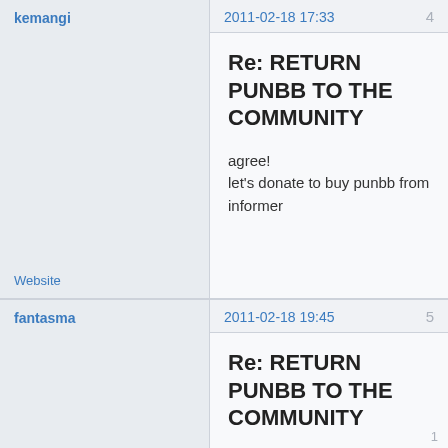kemangi
2011-02-18 17:33
4
Re: RETURN PUNBB TO THE COMMUNITY
agree!
let's donate to buy punbb from informer
Website
fantasma
2011-02-18 19:45
5
Re: RETURN PUNBB TO THE COMMUNITY
add news or i must migrate to fluxbb
1